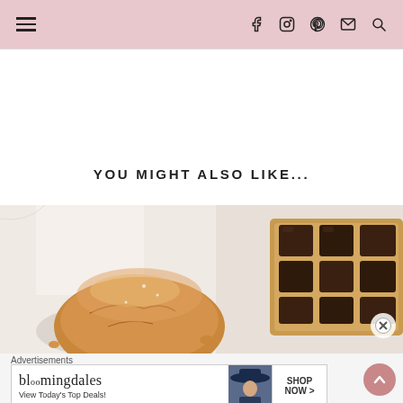Navigation header with hamburger menu and social icons (Facebook, Instagram, Pinterest, Email, Search)
YOU MIGHT ALSO LIKE...
[Figure (photo): Overhead food photography showing baked goods with chocolate chunks on parchment paper]
Advertisements
[Figure (screenshot): Bloomingdales advertisement banner: 'View Today's Top Deals!' with SHOP NOW button and model in hat]